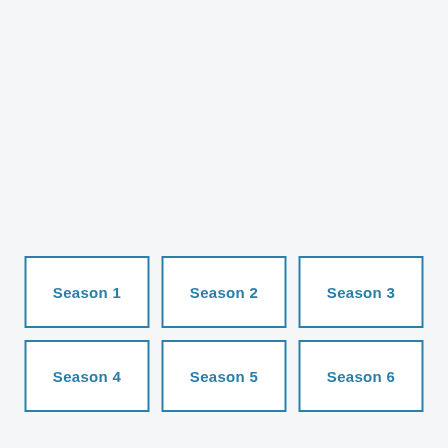[Figure (infographic): Six labeled boxes arranged in a 3x2 grid at the bottom of the page, each with a blue border and blue bold text reading Season 1 through Season 6.]